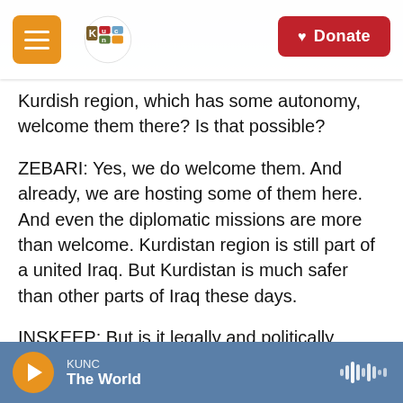KUNC | Donate
Kurdish region, which has some autonomy, welcome them there? Is that possible?
ZEBARI: Yes, we do welcome them. And already, we are hosting some of them here. And even the diplomatic missions are more than welcome. Kurdistan region is still part of a united Iraq. But Kurdistan is much safer than other parts of Iraq these days.
INSKEEP: But is it legally and politically possible for Kurdistan, if it came to that, to say - the national government rejects this; we're going to ignore the national government and allow U.S. troops
KUNC | The World